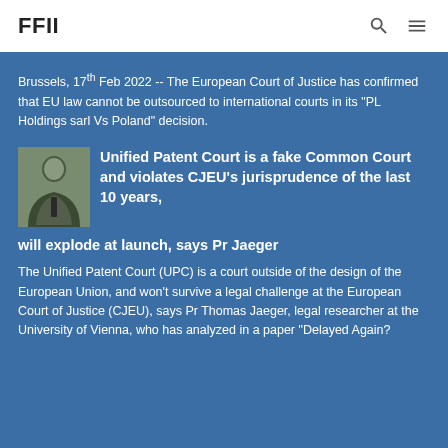FFII
Brussels, 17th Feb 2022 -- The European Court of Justice has confirmed that EU law cannot be outsourced to international courts in its "PL Holdings sarl Vs Poland" decision.
[Figure (photo): Portrait photo of a man in a suit speaking]
Unified Patent Court is a fake Common Court and violates CJEU's jurisprudence of the last 10 years, will explode at launch, says Pr Jaeger
The Unified Patent Court (UPC) is a court outside of the design of the European Union, and won't survive a legal challenge at the European Court of Justice (CJEU), says Pr Thomas Jaeger, legal researcher at the University of Vienna, who has analyzed in a paper "Delayed Again?